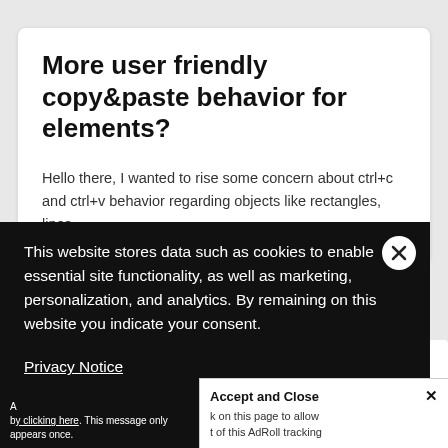More user friendly copy&paste behavior for elements?
Hello there, I wanted to rise some concern about ctrl+c and ctrl+v behavior regarding objects like rectangles, lines,...
This website stores data such as cookies to enable essential site functionality, as well as marketing, personalization, and analytics. By remaining on this website you indicate your consent.
Privacy Notice
Accept and Close ✕
k on this page to allow t of this AdRoll tracking